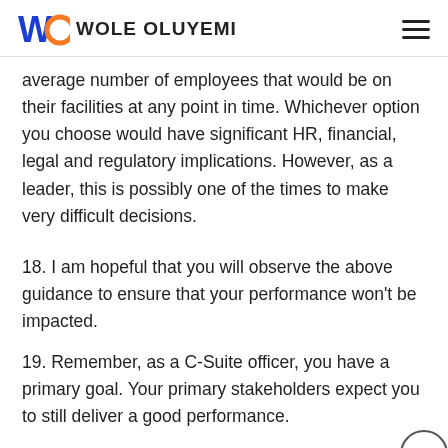WOLE OLUYEMI
average number of employees that would be on their facilities at any point in time. Whichever option you choose would have significant HR, financial, legal and regulatory implications. However, as a leader, this is possibly one of the times to make very difficult decisions.
18. I am hopeful that you will observe the above guidance to ensure that your performance won't be impacted.
19. Remember, as a C-Suite officer, you have a primary goal. Your primary stakeholders expect you to still deliver a good performance.
20. I remain your advisor and executive business co…
LEAVE A REPLY